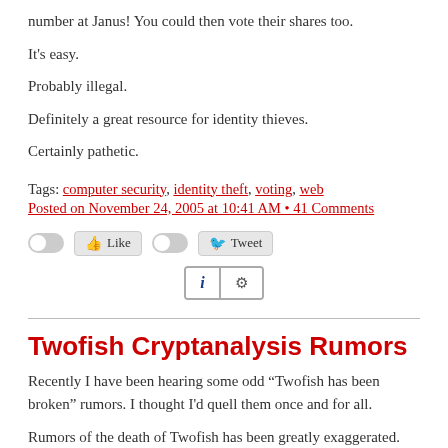number at Janus! You could then vote their shares too.
It's easy.
Probably illegal.
Definitely a great resource for identity thieves.
Certainly pathetic.
Tags: computer security, identity theft, voting, web
Posted on November 24, 2005 at 10:41 AM • 41 Comments
[Figure (infographic): Social sharing buttons: toggle + Like, toggle + Tweet, and an info/settings button row]
Twofish Cryptanalysis Rumors
Recently I have been hearing some odd “Twofish has been broken” rumors. I thought I'd quell them once and for all.
Rumors of the death of Twofish has been greatly exaggerated.